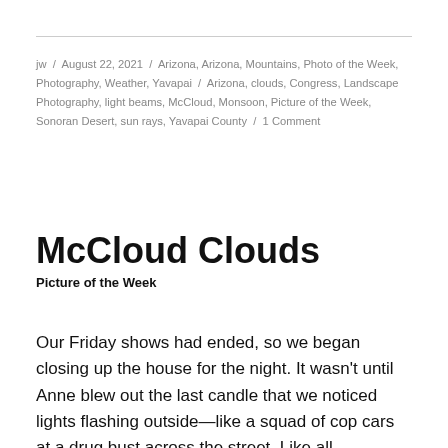jw / August 22, 2021 / Arizona, Arizona, Mountains, Photo of the Week, Photography, Weather, Yavapai / Arizona, clouds, Congress, Landscape Photography, light beams, McCloud, Monsoon, Picture of the Week, Sonoran Desert, sun rays, Yavapai County / 1 Comment
McCloud Clouds
Picture of the Week
Our Friday shows had ended, so we began closing up the house for the night. It wasn't until Anne blew out the last candle that we noticed lights flashing outside—like a squad of cop cars at a drug bust across the street. Like all